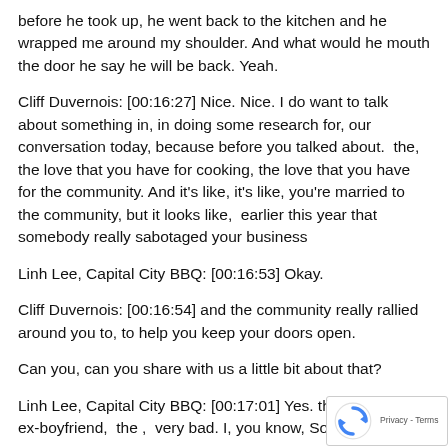before he took up, he went back to the kitchen and he wrapped me around my shoulder. And what would he mouth the door he say he will be back. Yeah.
Cliff Duvernois: [00:16:27] Nice. Nice. I do want to talk about something in, in doing some research for, our conversation today, because before you talked about.  the, the love that you have for cooking, the love that you have for the community. And it's like, it's like, you're married to the community, but it looks like,  earlier this year that somebody really sabotaged your business
Linh Lee, Capital City BBQ: [00:16:53] Okay.
Cliff Duvernois: [00:16:54] and the community really rallied around you to, to help you keep your doors open.
Can you, can you share with us a little bit about that?
Linh Lee, Capital City BBQ: [00:17:01] Yes. that perso my ex-boyfriend,  the ,  very bad. I, you know, Sometir
[Figure (logo): reCAPTCHA badge with logo and Privacy - Terms text]